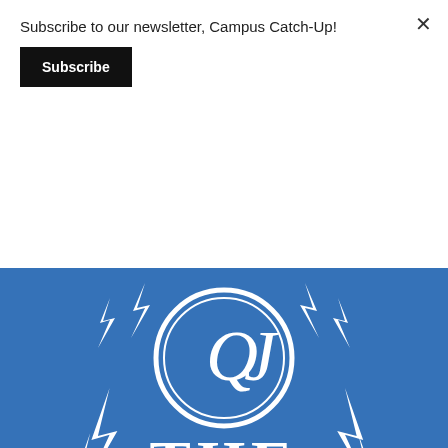Subscribe to our newsletter, Campus Catch-Up!
Subscribe
[Figure (illustration): Blue promotional poster for 'The Scramble' podcast/show by QJ (Quinnipiac Journalism). Features a white circle logo with 'QJ' in the center, white lightning bolt decorations, large text 'THE SCRAMBLE', and two microphone illustrations in the lower corners, all on a blue background.]